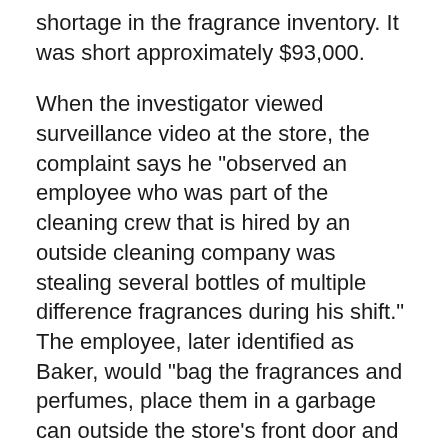shortage in the fragrance inventory. It was short approximately $93,000.
When the investigator viewed surveillance video at the store, the complaint says he "observed an employee who was part of the cleaning crew that is hired by an outside cleaning company was stealing several bottles of multiple difference fragrances during his shift." The employee, later identified as Baker, would "bag the fragrances and perfumes, place them in a garbage can outside the store's front door and then remove them from the garbage can upon completion of his shift."
When confronted by police, Baker "admitted to taking approximately ten to 12 bottles of different colognes and perfumes three to four days a week during his